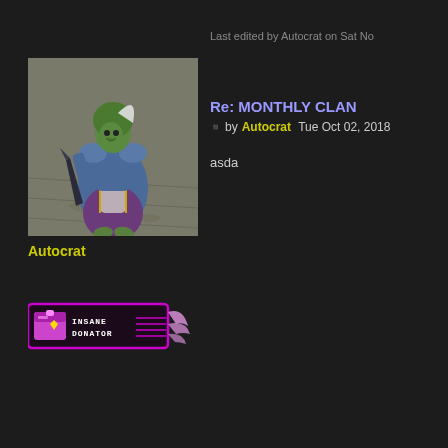Last edited by Autocrat on Sat No
Re: MONTHLY CLAN
by Autocrat Tue Oct 02, 2018
asda
[Figure (screenshot): Game character avatar - a figure in blue/purple robes with green skin and a green hood, holding a weapon, standing on stone ground]
Autocrat
[Figure (illustration): Insane Donator badge - pink/magenta bordered badge with a chest icon, text reading INSANE DONATOR, and wing decorations]